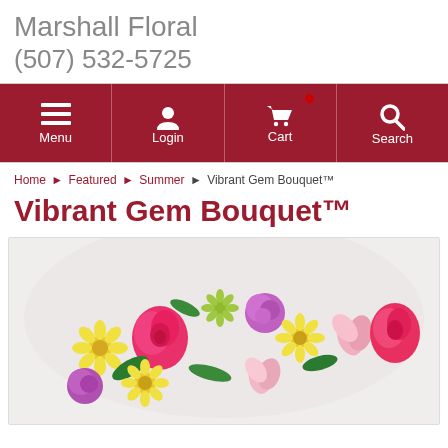Marshall Floral
(507) 532-5725
[Figure (screenshot): Navigation bar with dark red background showing Menu, Login, Cart, and Search icons in white]
Home ▶ Featured ▶ Summer ▶ Vibrant Gem Bouquet™
Vibrant Gem Bouquet™
[Figure (photo): Photo of the Vibrant Gem Bouquet showing colorful flowers including pink roses, yellow daisies, purple carnations, and pink alstroemeria in a white vase against a white background]